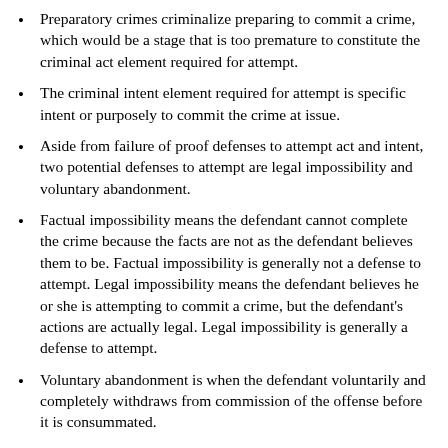Preparatory crimes criminalize preparing to commit a crime, which would be a stage that is too premature to constitute the criminal act element required for attempt.
The criminal intent element required for attempt is specific intent or purposely to commit the crime at issue.
Aside from failure of proof defenses to attempt act and intent, two potential defenses to attempt are legal impossibility and voluntary abandonment.
Factual impossibility means the defendant cannot complete the crime because the facts are not as the defendant believes them to be. Factual impossibility is generally not a defense to attempt. Legal impossibility means the defendant believes he or she is attempting to commit a crime, but the defendant's actions are actually legal. Legal impossibility is generally a defense to attempt.
Voluntary abandonment is when the defendant voluntarily and completely withdraws from commission of the offense before it is consummated.
In some jurisdictions, attempt merges into the offense if it is